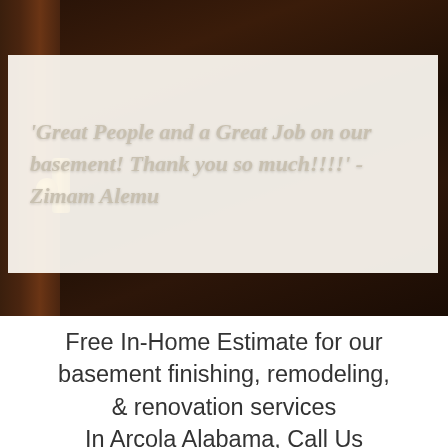[Figure (photo): Dark brown wooden door with gold doorknob on left side, with a cream/off-white overlay box containing a customer testimonial quote in italic white text.]
'Great People and a Great Job on our basement! Thank you so much!!!!' - Zimam Alemu
Free In-Home Estimate for our basement finishing, remodeling, & renovation services In Arcola Alabama, Call Us